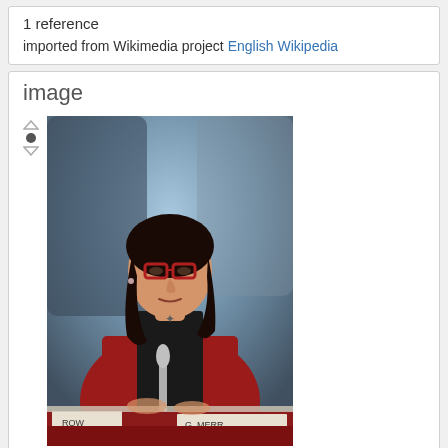1 reference
imported from Wikimedia project English Wikipedia
image
[Figure (photo): A woman with dark hair wearing red-framed glasses and a red blazer, seated at a table with a microphone and name placards reading 'ROW' and 'G. MERR...' visible in the foreground. Other people are blurred in the background.]